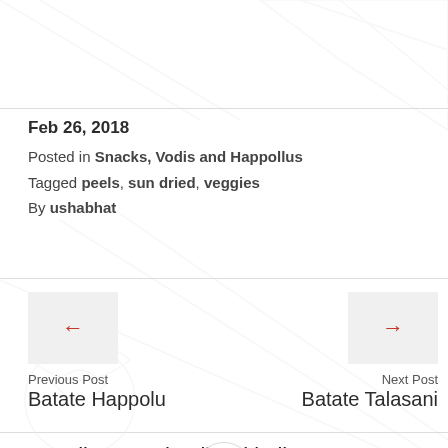Feb 26, 2018
Posted in Snacks, Vodis and Happollus
Tagged peels, sun dried, veggies
By ushabhat
Previous Post
Batate Happolu
Next Post
Batate Talasani
2 replies to “Chevli Sukkelle”
Unknown
Jul 24, 2018 at 2:58 pm